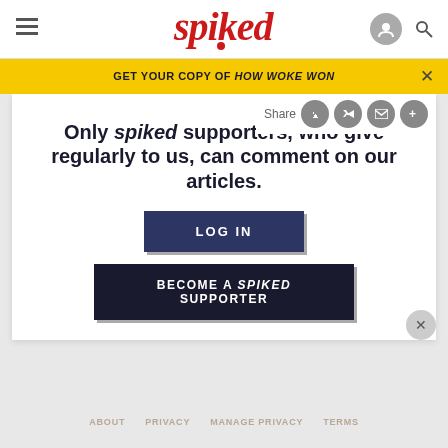spiked
GET YOUR COPY OF HOW WOKE WON
Only spiked supporters, who give regularly to us, can comment on our articles.
LOG IN
BECOME A SPIKED SUPPORTER
ABOUT  PRIVACY  MANAGE PRIVACY  TERMS